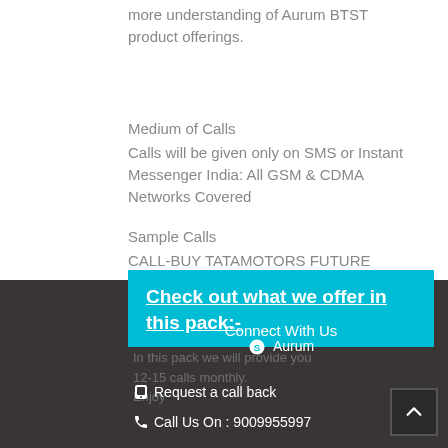more understanding of Aurum BTST product offerings.
Medium of Calls
Calls will be given only on SMS or Instant Messenger India: All GSM & CDMA Networks Covered
Sample Calls
CALL-BUY TATAMOTORS FUTURE ABOVE 430 TGT 438 SL 424
Check out what we offer in this pack:-
Connect With Us
Skype Aurum
In this pack we will provide you 12-15 calls monthly.
Request a call back
Call Us On : 9009955997